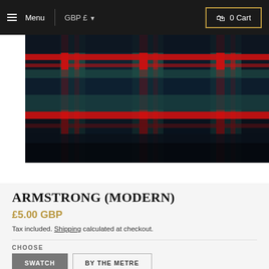≡ Menu  GBP £ ▼  🛍 0 Cart
[Figure (photo): Close-up of Armstrong (Modern) tartan fabric showing dark navy, teal/green, and red plaid pattern]
ARMSTRONG (MODERN)
£5.00 GBP
Tax included. Shipping calculated at checkout.
CHOOSE
SWATCH  BY THE METRE
QUANTITY  -  1  +